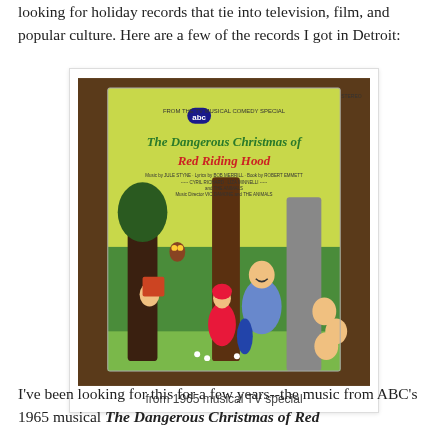looking for holiday records that tie into television, film, and popular culture. Here are a few of the records I got in Detroit:
[Figure (photo): Album cover photograph of 'The Dangerous Christmas of Red Riding Hood' from the ABC TV Musical Comedy Special, showing illustrated characters in a forest scene.]
from 1965 musical TV special
I've been looking for this for a few years--the music from ABC's 1965 musical The Dangerous Christmas of Red